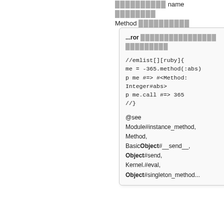██████████ name ████████ Method ██████████
...ror ████████████████ █████████

//emlist[][ruby]{
me = -365.method(:abs)
p me #=> #<Method: Integer#abs>
p me.call #=> 365
//}

@see Module#instance_method, Method, BasicObject#__send__, Object#send, Kernel.#eval, Object#singleton_method...